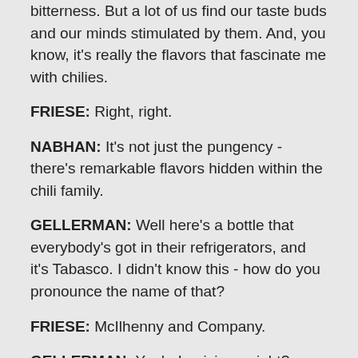bitterness. But a lot of us find our taste buds and our minds stimulated by them. And, you know, it's really the flavors that fascinate me with chilies.
FRIESE: Right, right.
NABHAN: It's not just the pungency - there's remarkable flavors hidden within the chili family.
GELLERMAN: Well here's a bottle that everybody's got in their refrigerators, and it's Tabasco. I didn't know this - how do you pronounce the name of that?
FRIESE: McIlhenny and Company.
GELLERMAN: Yeah, Louisiana, right?
FRIESE: That's right. Avery Island, Lousisana.
GELLERMAN: Now this is hot.
FRIESE: It's pretty hot. For a lot of people, it's the upper